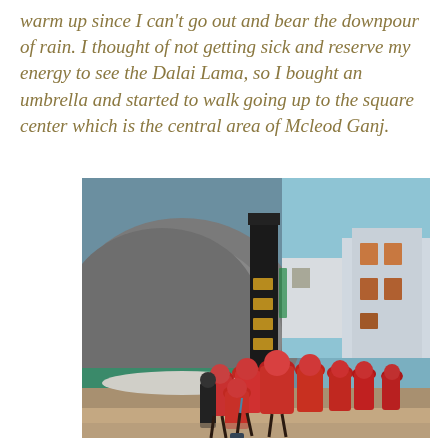warm up since I can't go out and bear the downpour of rain. I thought of not getting sick and reserve my energy to see the Dalai Lama, so I bought an umbrella and started to walk going up to the square center which is the central area of Mcleod Ganj.
[Figure (photo): A group of Buddhist monks dressed in red robes walking through the square center of Mcleod Ganj. On the left is a large rock face with painted figures/decorations. A tall black obelisk/monument with Hindi text stands in the center. Buildings are visible in the background on the right side.]